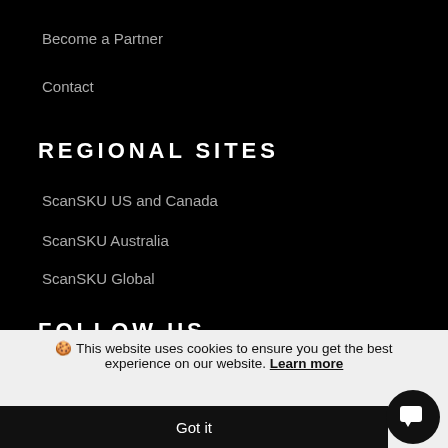Become a Partner
Contact
REGIONAL SITES
ScanSKU US and Canada
ScanSKU Australia
ScanSKU Global
FOLLOW US
[Figure (illustration): Twitter bird icon and YouTube play button icon]
🍪 This website uses cookies to ensure you get the best experience on our website. Learn more
Got it